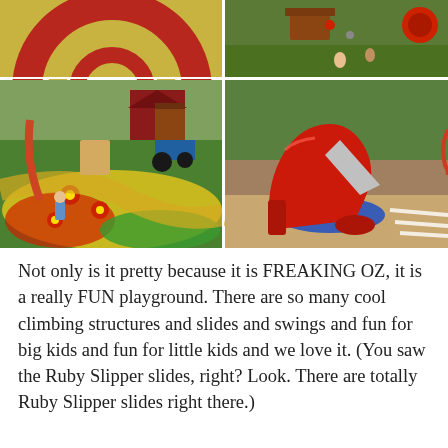[Figure (photo): Top-left: partial view of Oz-themed circular target/swirl design in red and yellow. Top-right: aerial/overhead view of a playground on green grass with small figures. Bottom-left: colorful Oz-themed playground with red barn building, tractor, flower designs on colorful rubber surface, children playing. Bottom-right: large red Ruby Slipper slide structure on sandy/rubber ground with blue painted circle, trees in background.]
Not only is it pretty because it is FREAKING OZ, it is a really FUN playground. There are so many cool climbing structures and slides and swings and fun for big kids and fun for little kids and we love it. (You saw the Ruby Slipper slides, right? Look. There are totally Ruby Slipper slides right there.)